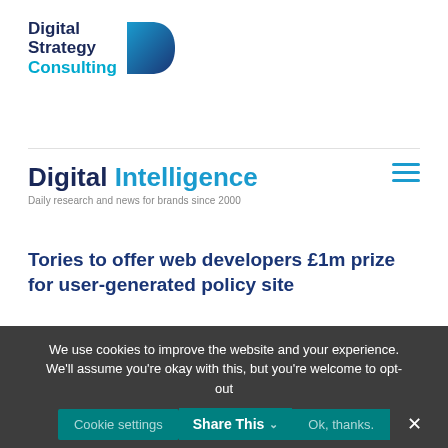[Figure (logo): Digital Strategy Consulting logo with dark blue text and teal D shape]
Digital Intelligence
Daily research and news for brands since 2000
Tories to offer web developers £1m prize for user-generated policy site
Jan 5, 2010 | Uncategorized
The Conservatives are planning
We use cookies to improve the website and your experience. We'll assume you're okay with this, but you're welcome to opt-out
Cookie settings   Share This   Ok, thanks.